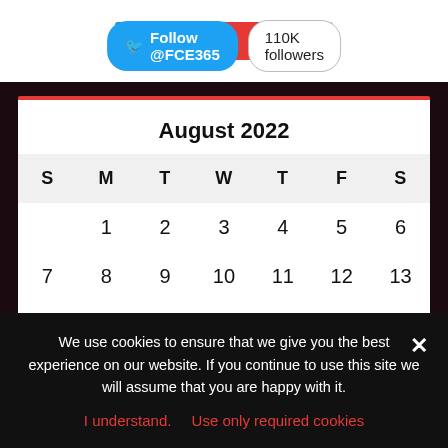[Figure (screenshot): Social media thumbnail images and Twitter follow button showing Follow @FCE365 with 110K followers]
August 2022
| S | M | T | W | T | F | S |
| --- | --- | --- | --- | --- | --- | --- |
|  | 1 | 2 | 3 | 4 | 5 | 6 |
| 7 | 8 | 9 | 10 | 11 | 12 | 13 |
| 14 | 15 | 16 | 17 | 18 | 19 | 20 |
| 21 | 22 | 23 | 24 | 25 | 26 | 27 |
We use cookies to ensure that we give you the best experience on our website. If you continue to use this site we will assume that you are happy with it.
I understand.   Use only required cookies